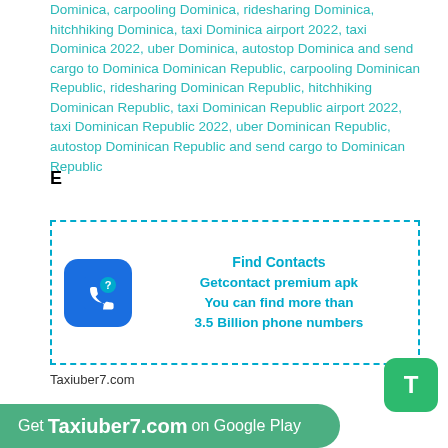Dominica, carpooling Dominica, ridesharing Dominica, hitchhiking Dominica, taxi Dominica airport 2022, taxi Dominica 2022, uber Dominica, autostop Dominica and send cargo to Dominica Dominican Republic, carpooling Dominican Republic, ridesharing Dominican Republic, hitchhiking Dominican Republic, taxi Dominican Republic airport 2022, taxi Dominican Republic 2022, uber Dominican Republic, autostop Dominican Republic and send cargo to Dominican Republic
E
[Figure (infographic): Advertisement box with dashed border containing a blue phone/contact icon on the left and text: Find Contacts, Getcontact premium apk, You can find more than 3.5 Billion phone numbers]
Taxiuber7.com
Get Taxiuber7.com on Google Play